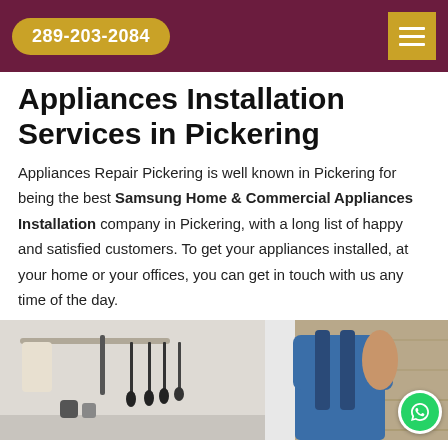289-203-2084
Appliances Installation Services in Pickering
Appliances Repair Pickering is well known in Pickering for being the best Samsung Home & Commercial Appliances Installation company in Pickering, with a long list of happy and satisfied customers. To get your appliances installed, at your home or your offices, you can get in touch with us any time of the day.
[Figure (photo): Left panel showing kitchen utensils hanging on a rack; right panel showing a technician in blue uniform working on an appliance installation.]